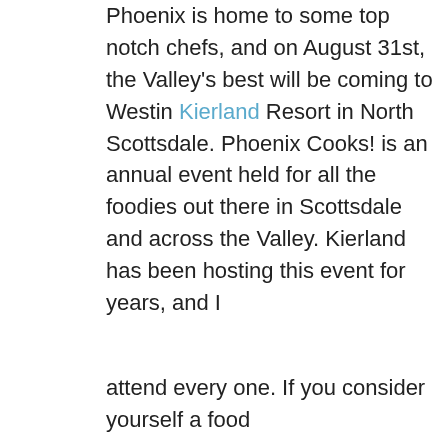Phoenix is home to some top notch chefs, and on August 31st, the Valley's best will be coming to Westin Kierland Resort in North Scottsdale. Phoenix Cooks! is an annual event held for all the foodies out there in Scottsdale and across the Valley. Kierland has been hosting this event for years, and I
attend every one. If you consider yourself a food